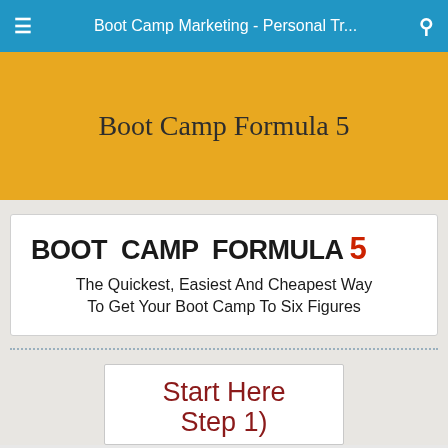Boot Camp Marketing - Personal Tr...
Boot Camp Formula 5
[Figure (illustration): Product banner image with bold distressed text reading BOOT CAMP FORMULA 5 with the number 5 in red, and subtitle: The Quickest, Easiest And Cheapest Way To Get Your Boot Camp To Six Figures]
[Figure (infographic): White box with handwritten-style red text reading 'Start Here' and 'Step 1)' partially visible]